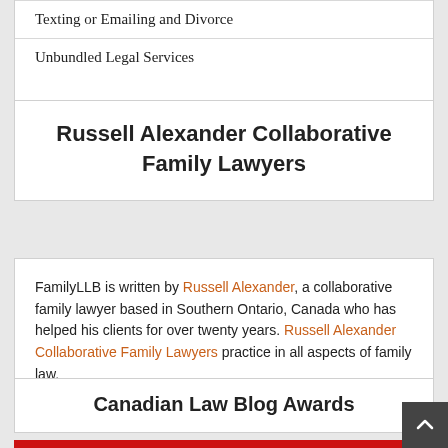Texting or Emailing and Divorce
Unbundled Legal Services
Russell Alexander Collaborative Family Lawyers
FamilyLLB is written by Russell Alexander, a collaborative family lawyer based in Southern Ontario, Canada who has helped his clients for over twenty years. Russell Alexander Collaborative Family Lawyers practice in all aspects of family law.
Canadian Law Blog Awards